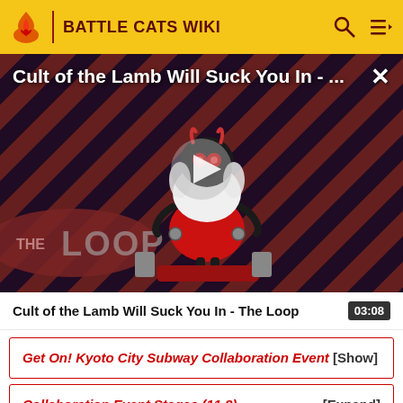BATTLE CATS WIKI
[Figure (screenshot): Video thumbnail for 'Cult of the Lamb Will Suck You In - The Loop' showing a cartoon lamb character on a striped red and dark purple diagonal background, with 'THE LOOP' branding in the lower left and a play button overlay in the center.]
Cult of the Lamb Will Suck You In - The Loop   03:08
Get On! Kyoto City Subway Collaboration Event [Show]
Collaboration Event Stages (11.8)   [Expand]